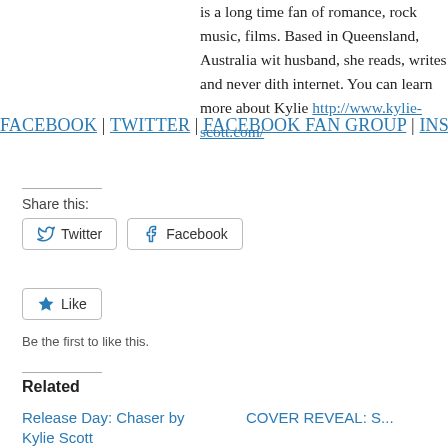is a long time fan of romance, rock music, films. Based in Queensland, Australia with her husband, she reads, writes and never dithers on the internet. You can learn more about Kylie at http://www.kylie-scott.com/
FACEBOOK | TWITTER | FACEBOOK FAN GROUP | INSTA
Share this:
Twitter   Facebook
Like
Be the first to like this.
Related
Release Day: Chaser by Kylie Scott
COVER REVEAL: